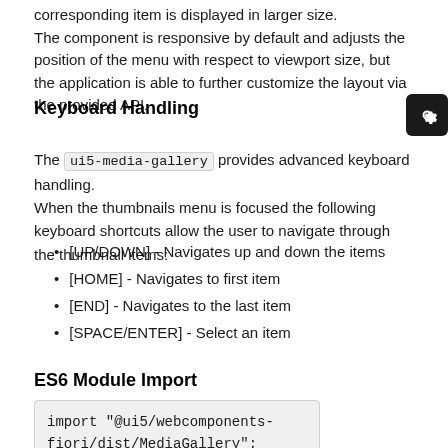corresponding item is displayed in larger size. The component is responsive by default and adjusts the position of the menu with respect to viewport size, but the application is able to further customize the layout via the provided API.
Keyboard Handling
The ui5-media-gallery provides advanced keyboard handling.
When the thumbnails menu is focused the following keyboard shortcuts allow the user to navigate through the thumbnail items:
[UP/DOWN] - Navigates up and down the items
[HOME] - Navigates to first item
[END] - Navigates to the last item
[SPACE/ENTER] - Select an item
ES6 Module Import
import "@ui5/webcomponents-fiori/dist/MediaGallery";